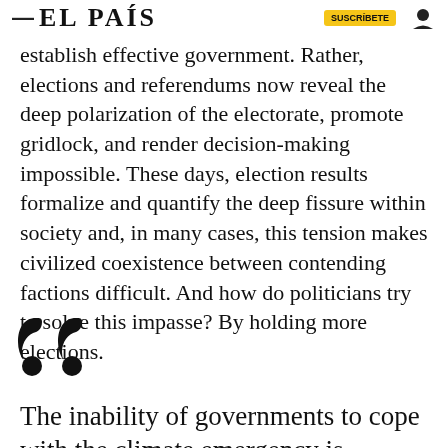— EL PAÍS
establish effective government. Rather, elections and referendums now reveal the deep polarization of the electorate, promote gridlock, and render decision-making impossible. These days, election results formalize and quantify the deep fissure within society and, in many cases, this tension makes civilized coexistence between contending factions difficult. And how do politicians try to solve this impasse? By holding more elections.
[Figure (illustration): Large decorative opening quotation marks in black]
The inability of governments to cope with the climate emergency is